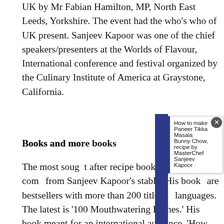UK by Mr Fabian Hamilton, MP, North East Leeds, Yorkshire. The event had the who's who of UK present. Sanjeev Kapoor was one of the chief speakers/presenters at the Worlds of Flavour, International conference and festival organized by the Culinary Institute of America at Graystone, California.
Books and more books
The most sought after recipe books undoubtedly come from Sanjeev Kapoor's stable. His books are bestsellers with more than 200 titles in languages. The latest is '100 Mouthwatering Dishes.' His book meant for an international audience, 'How To Cook
[Figure (other): A popup/tooltip overlay showing text: 'How to make Paneer Tikka Masala Bunny Chow, recipe by MasterChef Sanjeev Kapoor' with a blue bookmark tab on the left and a close button (x) on the top right.]